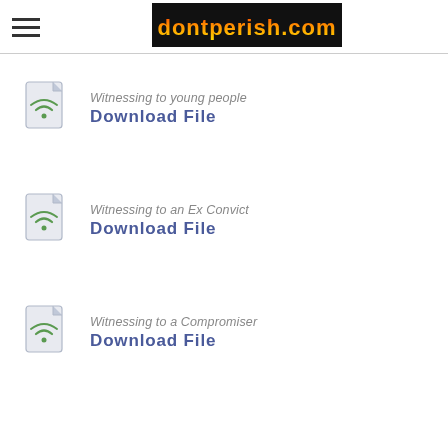[Figure (logo): dontperish.com logo with flame text effect on black background]
Witnessing to young people
Download File
Witnessing to an Ex Convict
Download File
Witnessing to a Compromiser
Download File